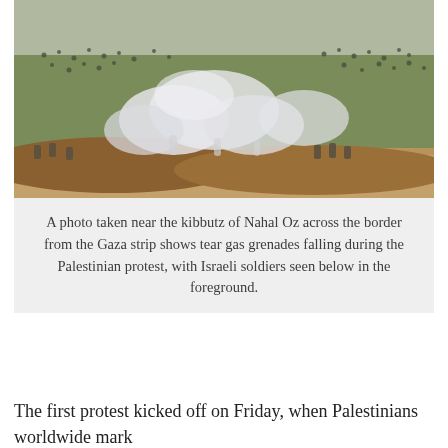[Figure (photo): A photo taken near the kibbutz of Nahal Oz. Large crowds of people are visible across a wide field with smoke from tear gas grenades rising in the middle distance. Israeli soldiers are visible in the foreground near a sandy embankment.]
A photo taken near the kibbutz of Nahal Oz across the border from the Gaza strip shows tear gas grenades falling during the Palestinian protest, with Israeli soldiers seen below in the foreground.
The first protest kicked off on Friday, when Palestinians worldwide mark